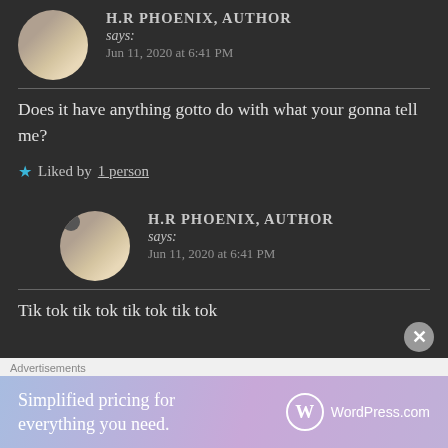H.R PHOENIX, AUTHOR says: Jun 11, 2020 at 6:41 PM
Does it have anything gotto do with what your gonna tell me?
Liked by 1 person
H.R PHOENIX, AUTHOR says: Jun 11, 2020 at 6:41 PM
Tik tok tik tok tik tok tik tok
Advertisements
Simplified pricing for everything you need. WordPress.com